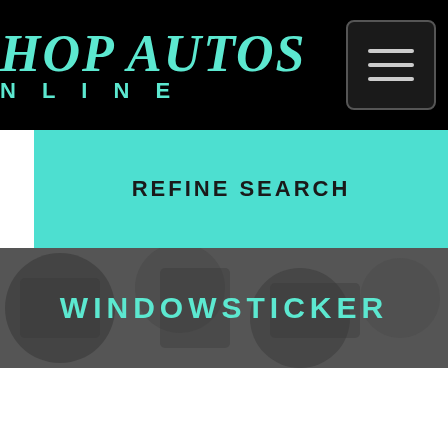HOP AUTOS ONLINE
REFINE SEARCH
WINDOWSTICKER